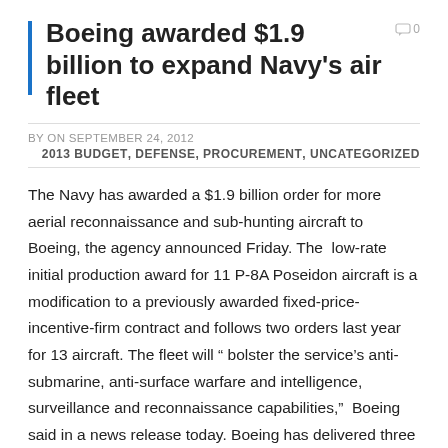Boeing awarded $1.9 billion to expand Navy's air fleet
BY ON SEPTEMBER 24, 2012
2013 BUDGET, DEFENSE, PROCUREMENT, UNCATEGORIZED
The Navy has awarded a $1.9 billion order for more aerial reconnaissance and sub-hunting aircraft to Boeing, the agency announced Friday. The low-rate initial production award for 11 P-8A Poseidon aircraft is a modification to a previously awarded fixed-price-incentive-firm contract and follows two orders last year for 13 aircraft. The fleet will “ bolster the service’s anti-submarine, anti-surface warfare and intelligence, surveillance and reconnaissance capabilities,” Boeing said in a news release today. Boeing has delivered three of the P-8As, which are based on the company’s 737-800 commercial airplane, the company said. The Navy plans to purchase 117 to replace its P-3 fleet. Most of...